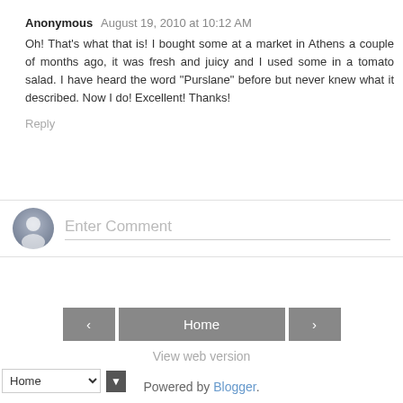Anonymous August 19, 2010 at 10:12 AM
Oh! That's what that is! I bought some at a market in Athens a couple of months ago, it was fresh and juicy and I used some in a tomato salad. I have heard the word "Purslane" before but never knew what it described. Now I do! Excellent! Thanks!
Reply
Enter Comment
Home
View web version
Home
Powered by Blogger.